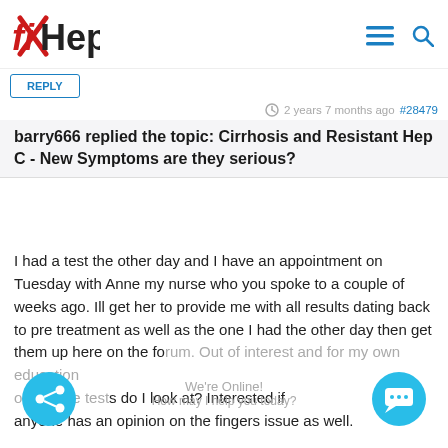fixHepC
2 years 7 months ago #28479
barry666 replied the topic: Cirrhosis and Resistant Hep C - New Symptoms are they serious?
I had a test the other day and I have an appointment on Tuesday with Anne my nurse who you spoke to a couple of weeks ago. Ill get her to provide me with all results dating back to pre treatment as well as the one I had the other day then get them up here on the forum. Out of interest and for my own education what do I look at on the tests do I look at? Interested if anyone has an opinion on the fingers issue as well.